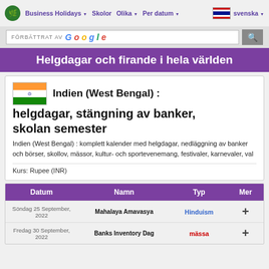Business Holidays  Skolor  Olika  Per datum  svenska
FÖRBÄTTRAT AV Google
Helgdagar och firande i hela världen
Indien (West Bengal) : helgdagar, stängning av banker, skolan semester
Indien (West Bengal) : komplett kalender med helgdagar, nedläggning av banker och börser, skollov, mässor, kultur- och sportevenemang, festivaler, karnevaler, val
Kurs: Rupee (INR)
| Datum | Namn | Typ | Mer |
| --- | --- | --- | --- |
| Söndag 25 September, 2022 | Mahalaya Amavasya | Hinduism | + |
| Fredag 30 September, 2022 | Banks Inventory Dag | mässa | + |